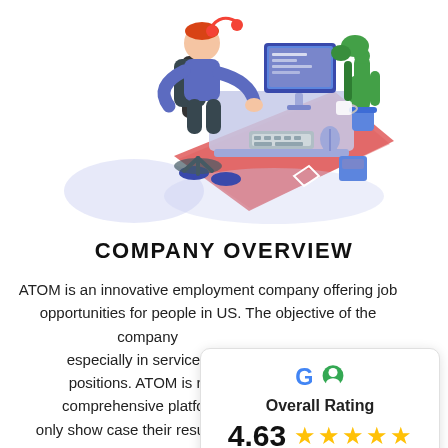[Figure (illustration): Isometric illustration of a person working at a desktop computer setup with plants, a headset, and office accessories on a red mat with purple/blue geometric shadows.]
COMPANY OVERVIEW
ATOM is an innovative employment company offering job opportunities for people in US. The objective of the company especially in service in positions. ATOM is r comprehensive platform w only show case their resume but applicants are also
[Figure (infographic): Google rating card showing overall rating of 4.63 with 5 stars, featuring the Google 'G' and a profile icon logo.]